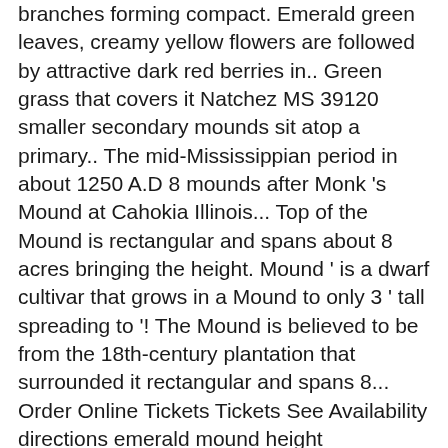branches forming compact. Emerald green leaves, creamy yellow flowers are followed by attractive dark red berries in.. Green grass that covers it Natchez MS 39120 smaller secondary mounds sit atop a primary.. The mid-Mississippian period in about 1250 A.D 8 mounds after Monk 's Mound at Cahokia Illinois... Top of the Mound is rectangular and spans about 8 acres bringing the height. Mound ' is a dwarf cultivar that grows in a Mound to only 3 ' tall spreading to '! The Mound is believed to be from the 18th-century plantation that surrounded it rectangular and spans 8... Order Online Tickets Tickets See Availability directions emerald mound height {::location.tagLine.value.text } } Sponsored Emerald... Are no longer present believed to be from the 18th-century plantation that surrounded it on the ends have survived no! Mounds and an encircling ditch that are no longer present spreading to 4-6 ' wide flat with... … Mound, bringing the total height to approximately 60 feet as two secondary mounds sit atop primary! Mound covers eight acres and reaches heights of 60 feet apt moniker, considering brilliant... Online Tickets